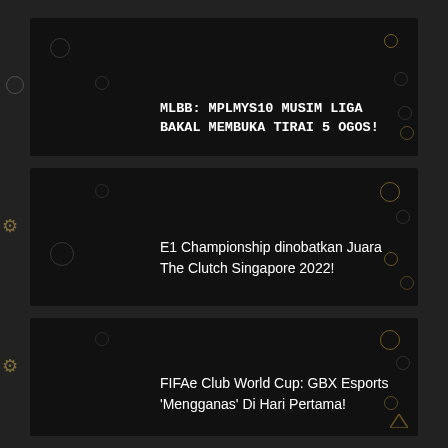[Figure (screenshot): Dark-themed news card with decorative icons: MLBB MPLMYS10 article thumbnail]
MLBB: MPLMYS10 MUSIM LIGA BAKAL MEMBUKA TIRAI 5 OGOS!
[Figure (screenshot): Dark-themed news card: E1 Championship article thumbnail]
E1 Championship dinobatkan Juara The Clutch Singapore 2022!
[Figure (screenshot): Dark-themed news card: FIFAe Club World Cup article thumbnail]
FIFAe Club World Cup: GBX Esports 'Mengganas' Di Hari Pertama!